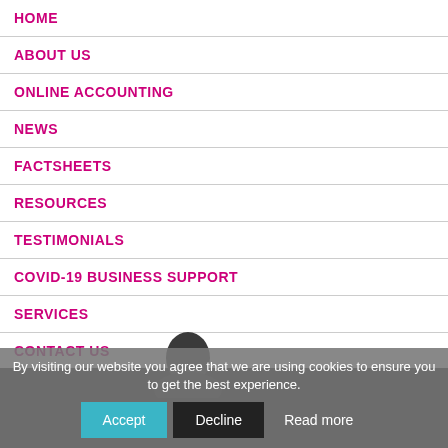HOME
ABOUT US
ONLINE ACCOUNTING
NEWS
FACTSHEETS
RESOURCES
TESTIMONIALS
COVID-19 BUSINESS SUPPORT
SERVICES
CONTACT US
BLOG
By visiting our website you agree that we are using cookies to ensure you to get the best experience.